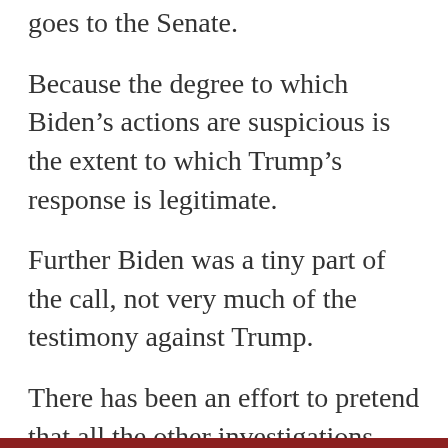goes to the Senate.
Because the degree to which Biden’s actions are suspicious is the extent to which Trump’s response is legitimate.
Further Biden was a tiny part of the call, not very much of the testimony against Trump.
There has been an effort to pretend that all the other investigations Trump asked